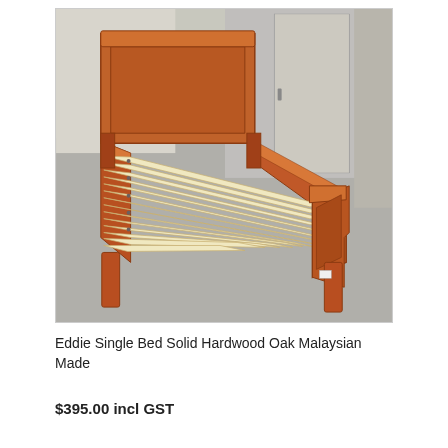[Figure (photo): A wooden single bed frame with slatted base (solid hardwood oak, medium brown/cherry finish) photographed in a warehouse or showroom setting. The bed shows a headboard panel, side rails, footboard panel, and multiple light-coloured wooden slats. Grey carpet floor visible.]
Eddie Single Bed Solid Hardwood Oak Malaysian Made
$395.00 incl GST